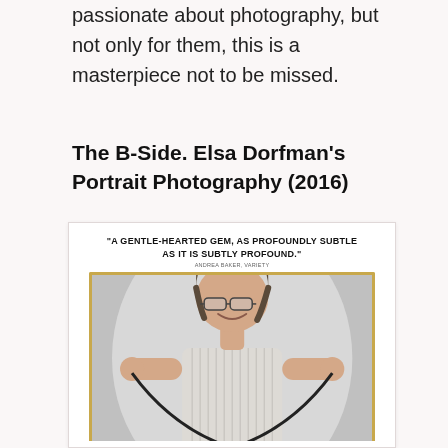passionate about photography, but not only for them, this is a masterpiece not to be missed.
The B-Side. Elsa Dorfman's Portrait Photography (2016)
[Figure (photo): Movie poster for 'The B-Side: Elsa Dorfman's Portrait Photography (2016)' featuring a quote 'A GENTLE-HEARTED GEM, AS PROFOUNDLY SUBTLE AS IT IS SUBTLY PROFOUND.' attributed to ANDREA BAKER, VARIETY, and a photograph of Elsa Dorfman smiling and holding a large film negative or cable, wearing a striped dress, with a gold-bordered film-strip style frame.]